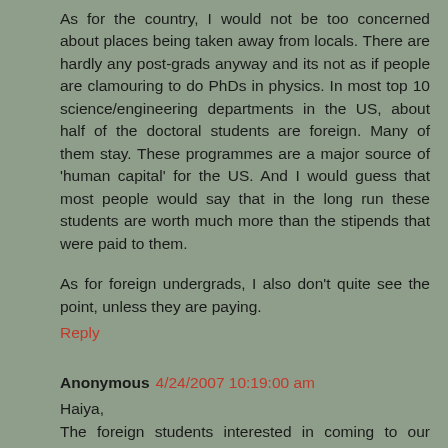As for the country, I would not be too concerned about places being taken away from locals. There are hardly any post-grads anyway and its not as if people are clamouring to do PhDs in physics. In most top 10 science/engineering departments in the US, about half of the doctoral students are foreign. Many of them stay. These programmes are a major source of 'human capital' for the US. And I would guess that most people would say that in the long run these students are worth much more than the stipends that were paid to them.
As for foreign undergrads, I also don't quite see the point, unless they are paying.
Reply
Anonymous 4/24/2007 10:19:00 am
Haiya,
The foreign students interested in coming to our universities are only from India,Pakistan, Afghanistan,Bangladesh, African countries and the Arabian countries